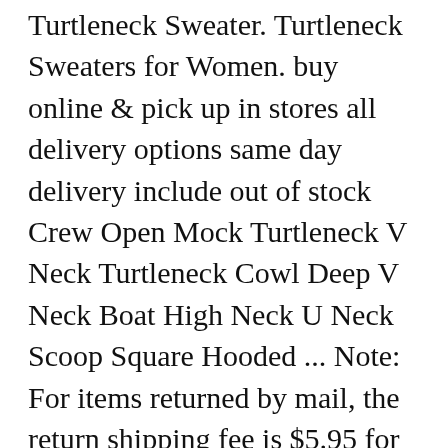Turtleneck Sweater. Turtleneck Sweaters for Women. buy online & pick up in stores all delivery options same day delivery include out of stock Crew Open Mock Turtleneck V Neck Turtleneck Cowl Deep V Neck Boat High Neck U Neck Scoop Square Hooded ... Note: For items returned by mail, the return shipping fee is $5.95 for the US and $10.95 for Canada. Gray Stitch Turtle Neck Knitted Sweater Price: $45.00 Open quick view. Offered in the latest styles and materials from shrugs, cardigans, v-neck sweaters and boleros Dillard's has you ... Women's turtleneck sweaters from Kohl's are the must-have for your wardrobe in fall and winter. Black and White Stripe Knitted Turtle Neck